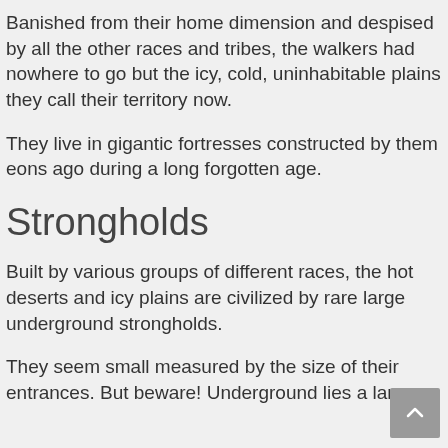Banished from their home dimension and despised by all the other races and tribes, the walkers had nowhere to go but the icy, cold, uninhabitable plains they call their territory now.
They live in gigantic fortresses constructed by them eons ago during a long forgotten age.
Strongholds
Built by various groups of different races, the hot deserts and icy plains are civilized by rare large underground strongholds.
They seem small measured by the size of their entrances. But beware! Underground lies a large